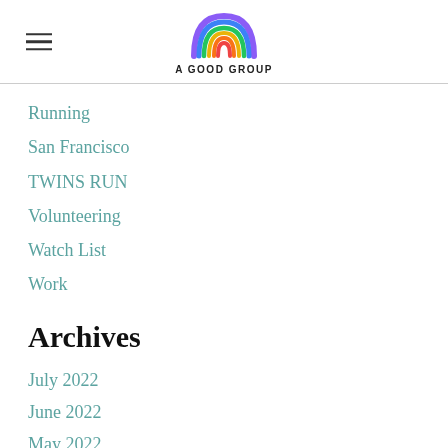A GOOD GROUP
Running
San Francisco
TWINS RUN
Volunteering
Watch List
Work
Archives
July 2022
June 2022
May 2022
April 2022
March 2022
February 2022
January 2022
December 2021
September 2021